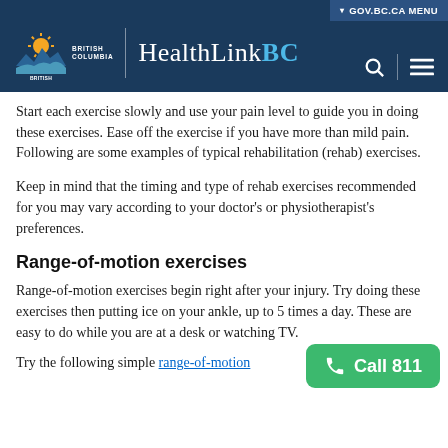HealthLinkBC | British Columbia | GOV.BC.CA MENU
Start each exercise slowly and use your pain level to guide you in doing these exercises. Ease off the exercise if you have more than mild pain. Following are some examples of typical rehabilitation (rehab) exercises.
Keep in mind that the timing and type of rehab exercises recommended for you may vary according to your doctor's or physiotherapist's preferences.
Range-of-motion exercises
Range-of-motion exercises begin right after your injury. Try doing these exercises then putting ice on your ankle, up to 5 times a day. These are easy to do while you are at a desk or watching TV.
Try the following simple range-of-motion